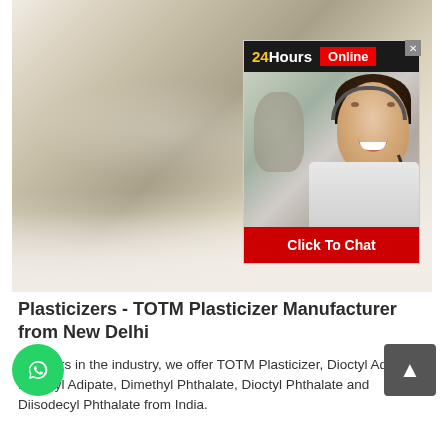[Figure (photo): Close-up photo of white/cream colored powder (plasticizer chemical) in a bowl/plate, with a customer service chat widget overlay showing a female agent with headset, '24Hours Online' header, and 'Click To Chat' button in red]
Plasticizers - TOTM Plasticizer Manufacturer from New Delhi
Pioneers in the industry, we offer TOTM Plasticizer, Dioctyl Adipate, Di Butyl Adipate, Dimethyl Phthalate, Dioctyl Phthalate and Diisodecyl Phthalate from India.